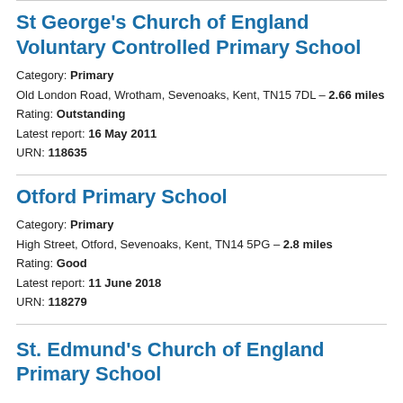St George's Church of England Voluntary Controlled Primary School
Category: Primary
Old London Road, Wrotham, Sevenoaks, Kent, TN15 7DL – 2.66 miles
Rating: Outstanding
Latest report: 16 May 2011
URN: 118635
Otford Primary School
Category: Primary
High Street, Otford, Sevenoaks, Kent, TN14 5PG – 2.8 miles
Rating: Good
Latest report: 11 June 2018
URN: 118279
St. Edmund's Church of England Primary School